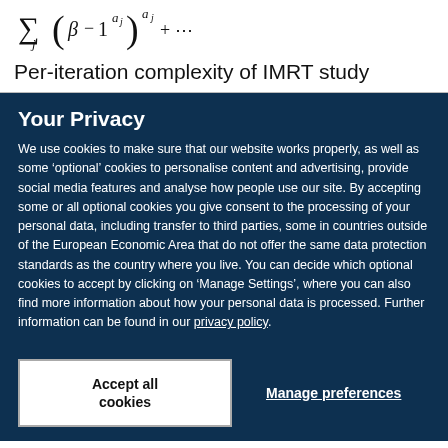Per-iteration complexity of IMRT study
Your Privacy
We use cookies to make sure that our website works properly, as well as some ‘optional’ cookies to personalise content and advertising, provide social media features and analyse how people use our site. By accepting some or all optional cookies you give consent to the processing of your personal data, including transfer to third parties, some in countries outside of the European Economic Area that do not offer the same data protection standards as the country where you live. You can decide which optional cookies to accept by clicking on ‘Manage Settings’, where you can also find more information about how your personal data is processed. Further information can be found in our privacy policy.
Accept all cookies
Manage preferences